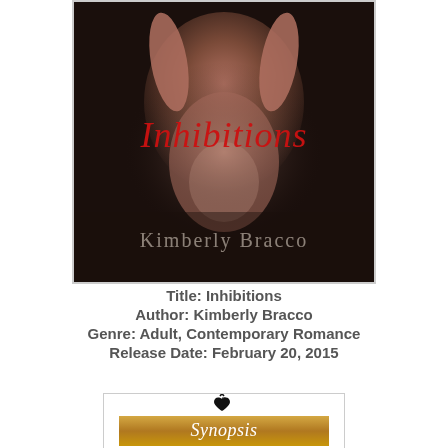[Figure (photo): Book cover for 'Inhibitions' by Kimberly Bracco. Dark moody background with a torso image, red cursive title 'Inhibitions' and author name 'Kimberly Bracco' at the bottom in white serif font.]
Title: Inhibitions
Author: Kimberly Bracco
Genre: Adult, Contemporary Romance
Release Date: February 20, 2015
[Figure (illustration): Synopsis banner with decorative ampersand/heart icon above a gold gradient rectangle with 'Synopsis' written in white italic script.]